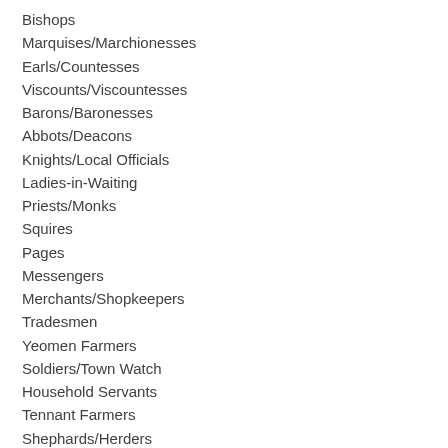Bishops
Marquises/Marchionesses
Earls/Countesses
Viscounts/Viscountesses
Barons/Baronesses
Abbots/Deacons
Knights/Local Officials
Ladies-in-Waiting
Priests/Monks
Squires
Pages
Messengers
Merchants/Shopkeepers
Tradesmen
Yeomen Farmers
Soldiers/Town Watch
Household Servants
Tennant Farmers
Shephards/Herders
Beggars